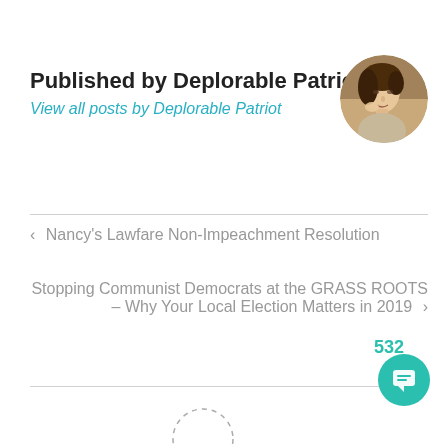Published by Deplorable Patriot
View all posts by Deplorable Patriot
[Figure (photo): Circular portrait photo of a young woman resting her chin on her hand, classical painting style]
< Nancy's Lawfare Non-Impeachment Resolution
Stopping Communist Democrats at the GRASS ROOTS – Why Your Local Election Matters in 2019 >
532